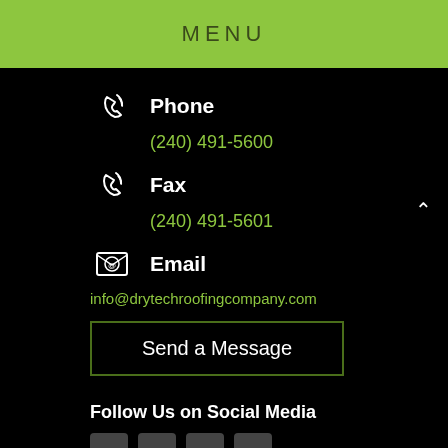MENU
Phone
(240) 491-5600
Fax
(240) 491-5601
Email
info@drytechroofingcompany.com
Send a Message
Follow Us on Social Media